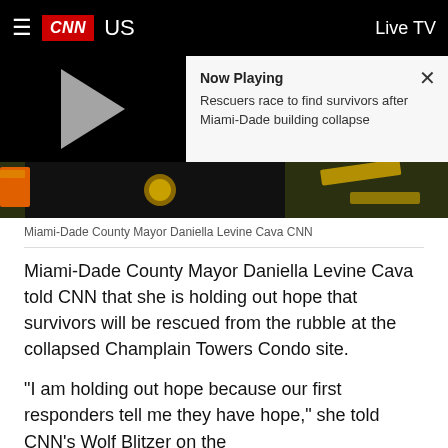CNN US  Live TV
[Figure (screenshot): CNN video player with 'Now Playing' overlay showing play button on dark background. Now Playing panel: 'Rescuers race to find survivors after Miami-Dade building collapse'. Below: thumbnail of Miami-Dade County Mayor in dark uniform with badge, crime scene tape visible.]
Miami-Dade County Mayor Daniella Levine Cava CNN
Miami-Dade County Mayor Daniella Levine Cava told CNN that she is holding out hope that survivors will be rescued from the rubble at the collapsed Champlain Towers Condo site.
"I am holding out hope because our first responders tell me they have hope," she told CNN's Wolf Blitzer on the